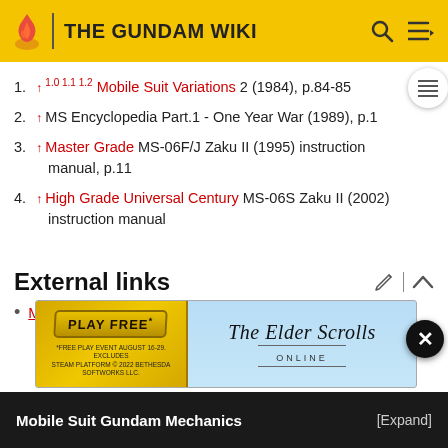THE GUNDAM WIKI
↑ 1.0 1.1 1.2 Mobile Suit Variations 2 (1984), p.84-85
↑ MS Encyclopedia Part.1 - One Year War (1989), p.1
↑ Master Grade MS-06F/J Zaku II (1995) instruction manual, p.11
↑ High Grade Universal Century MS-06S Zaku II (2002) instruction manual
External links
MS-06F Zaku II on MAHQ.net
[Figure (screenshot): Advertisement banner for The Elder Scrolls Online - Play Free event]
Mobile Suit Gundam Mechanics [Expand]